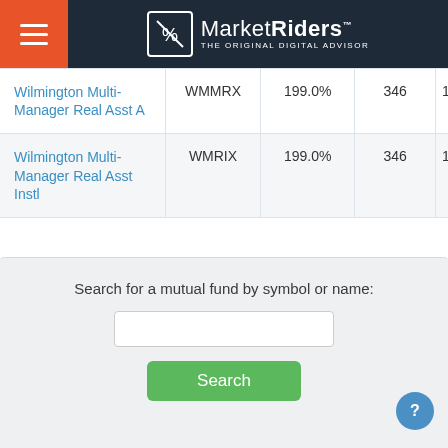MarketRiders THE ORIGINAL DIGITAL ADVISOR
| Fund Name | Ticker | Turnover | Holdings | Expense |
| --- | --- | --- | --- | --- |
| Wilmington Multi-Manager Real Asst A | WMMRX | 199.0% | 346 | 1.39 |
| Wilmington Multi-Manager Real Asst Instl | WMRIX | 199.0% | 346 | 1.14 |
Search for a mutual fund by symbol or name: